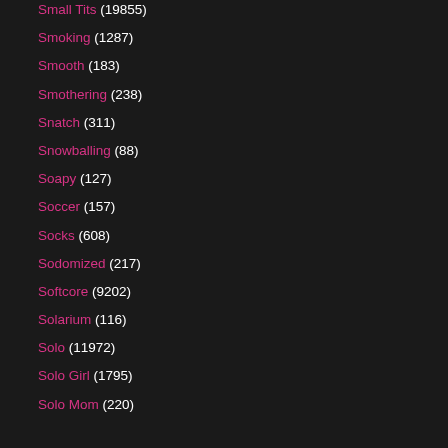Small Tits (19855)
Smoking (1287)
Smooth (183)
Smothering (238)
Snatch (311)
Snowballing (88)
Soapy (127)
Soccer (157)
Socks (608)
Sodomized (217)
Softcore (9202)
Solarium (116)
Solo (11972)
Solo Girl (1795)
Solo Mom (220)